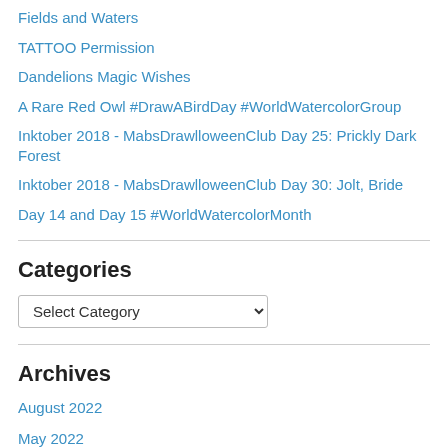Fields and Waters
TATTOO Permission
Dandelions Magic Wishes
A Rare Red Owl #DrawABirdDay #WorldWatercolorGroup
Inktober 2018 - MabsDrawlloweenClub Day 25: Prickly Dark Forest
Inktober 2018 - MabsDrawlloweenClub Day 30: Jolt, Bride
Day 14 and Day 15 #WorldWatercolorMonth
Categories
Archives
August 2022
May 2022
April 2022
February 2022